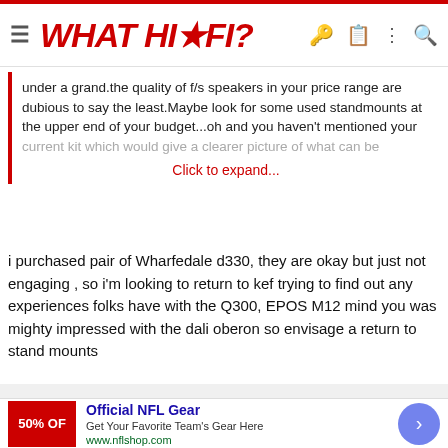WHAT HI*FI?
under a grand.the quality of f/s speakers in your price range are dubious to say the least.Maybe look for some used standmounts at the upper end of your budget...oh and you haven't mentioned your current kit which would give a clearer picture of what can be
Click to expand...
i purchased pair of Wharfedale d330, they are okay but just not engaging , so i'm looking to return to kef trying to find out any experiences folks have with the Q300, EPOS M12 mind you was mighty impressed with the dali oberon so envisage a return to stand mounts
[Figure (other): NFL Shop advertisement with red banner showing 50% OFF, text: Official NFL Gear, Get Your Favorite Team's Gear Here, www.nflshop.com]